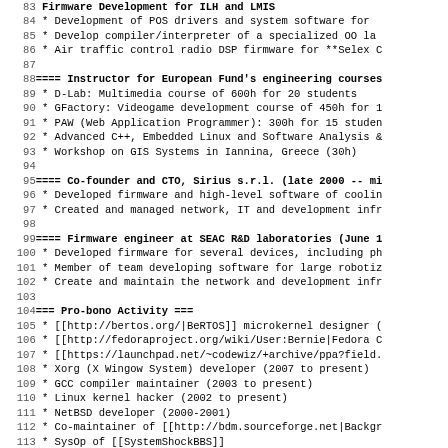Lines 84-115 of a wiki/markup source document showing employment history and pro-bono activities in monospace/code format
84  * Development of POS drivers and system software for
85  * Develop compiler/interpreter of a specialized OO la
86  * Air traffic control radio DSP firmware for **Selex C
87
88 ==== Instructor for European Fund's engineering courses
89  * D-Lab: Multimedia course of 600h for 20 students
90  * GFactory: Videogame development course of 450h for 1
91  * PAW (Web Application Programmer): 300h for 15 studen
92  * Advanced C++, Embedded Linux and Software Analysis &
93  * Workshop on GIS Systems in Iannina, Greece (30h)
94
95 ==== Co-founder and CTO, Sirius s.r.l. (late 2000 -- mi
96  * Developed firmware and high-level software of coolin
97  * Created and managed network, IT and development infr
98
99 ==== Firmware engineer at SEAC R&D laboratories (June 1
100  * Developed firmware for several devices, including ph
101  * Member of team developing software for large robotiz
102  * Create and maintain the network and development infr
103
104 === Pro-bono Activity ===
105  * [[http://bertos.org/|BeRTOS]] microkernel designer (
106  * [[http://fedoraproject.org/wiki/User:Bernie|Fedora C
107  * [[https://launchpad.net/~codewiz/+archive/ppa?field.
108  * Xorg (X Wingow System) developer (2007 to present)
109  * GCC compiler maintainer (2003 to present)
110  * Linux kernel hacker (2002 to present)
111  * NetBSD developer (2000-2001)
112  * Co-maintainer of [[http://bdm.sourceforge.net|Backgr
113  * SysOp of [[SystemShockBBS]]
114
115 <span class="noprint">For full details, see the unabrg